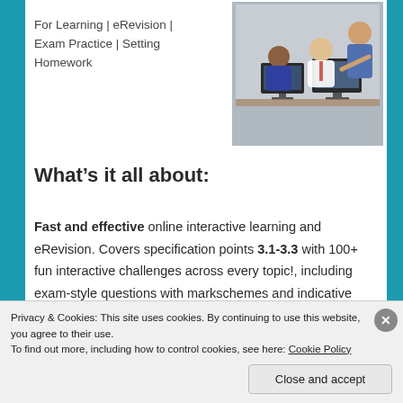For Learning | eRevision | Exam Practice | Setting Homework
[Figure (photo): Students sitting at computers in a classroom, with a teacher leaning in to help]
What’s it all about:
Fast and effective online interactive learning and eRevision. Covers specification points 3.1-3.3 with 100+ fun interactive challenges across every topic!, including exam-style questions with markschemes and indicative content.
Privacy & Cookies: This site uses cookies. By continuing to use this website, you agree to their use.
To find out more, including how to control cookies, see here: Cookie Policy
Close and accept